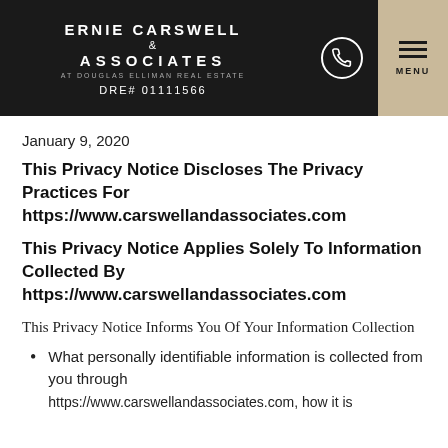ERNIE CARSWELL & ASSOCIATES AT DOUGLAS ELLIMAN REAL ESTATE DRE# 01111566
January 9, 2020
This Privacy Notice Discloses The Privacy Practices For https://www.carswellandassociates.com
This Privacy Notice Applies Solely To Information Collected By https://www.carswellandassociates.com
This Privacy Notice Informs You Of Your Information Collection
What personally identifiable information is collected from you through
https://www.carswellandassociates.com, how it is